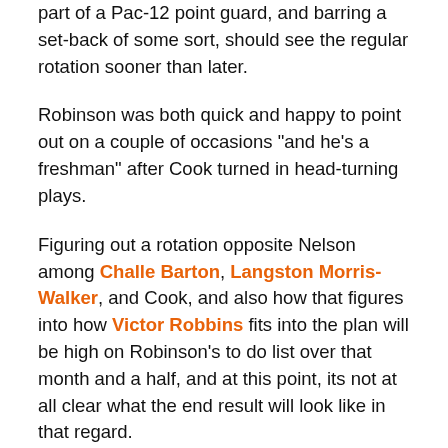part of a Pac-12 point guard, and barring a set-back of some sort, should see the regular rotation sooner than later.
Robinson was both quick and happy to point out on a couple of occasions "and he's a freshman" after Cook turned in head-turning plays.
Figuring out a rotation opposite Nelson among Challe Barton, Langston Morris-Walker, and Cook, and also how that figures into how Victor Robbins fits into the plan will be high on Robinson's to do list over that month and a half, and at this point, its not at all clear what the end result will look like in that regard.
Jarmal Reid sat out most of the day's drills, apparently with some aches and pains, not something more serious.